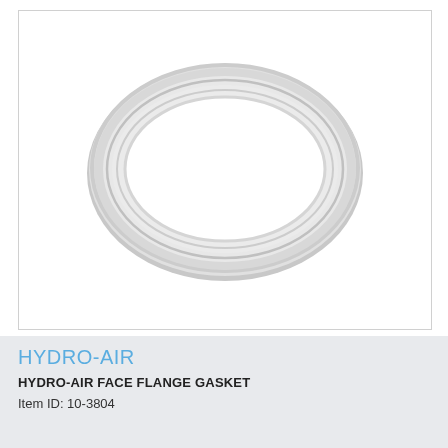[Figure (photo): A white/light gray circular ring gasket (face flange gasket) shown from a front view against a white background. The gasket is an annular ring shape with concentric ridges, slightly elliptical in the photo perspective.]
HYDRO-AIR
HYDRO-AIR FACE FLANGE GASKET
Item ID: 10-3804